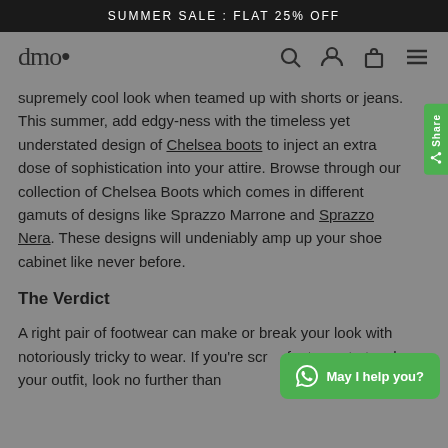SUMMER SALE : FLAT 25% OFF
[Figure (logo): dmo. brand logo with navigation icons (search, user, cart, menu)]
supremely cool look when teamed up with shorts or jeans. This summer, add edgy-ness with the timeless yet understated design of Chelsea boots to inject an extra dose of sophistication into your attire. Browse through our collection of Chelsea Boots which comes in different gamuts of designs like Sprazzo Marrone and Sprazzo Nera. These designs will undeniably amp up your shoe cabinet like never before.
The Verdict
A right pair of footwear can make or break your look with notoriously tricky to wear. If you're scr... footwear to touch your outfit, look no further than